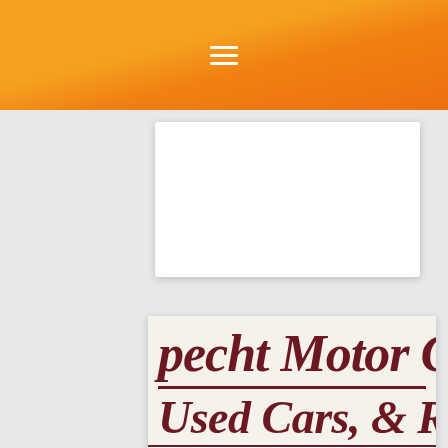Navigation menu (hamburger icon)
[Figure (screenshot): Partial view of a sign reading 'pecht Motor C' with 'Used Cars, & R' below, on a light cream background with dark red/maroon text and a horizontal divider line]
Dave Specht Motors Company
Read More